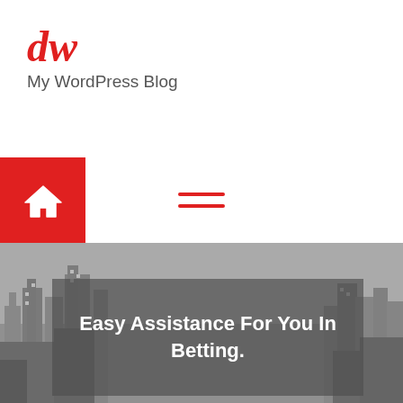[Figure (logo): dw logo in red italic bold font]
My WordPress Blog
[Figure (other): Red square home/house icon button on left, hamburger menu icon (three red horizontal lines) in center of nav bar]
[Figure (photo): Grayscale cityscape hero image with dark semi-transparent overlay containing white bold text: Easy Assistance For You In Betting.]
Easy Assistance For You In Betting.